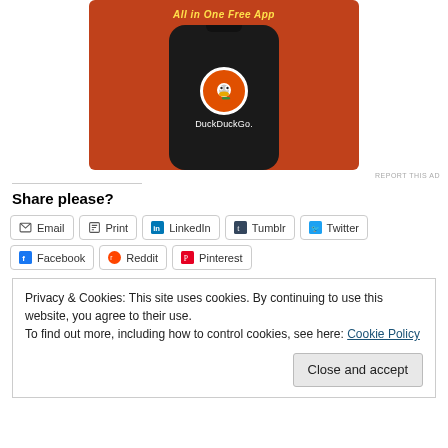[Figure (illustration): DuckDuckGo app advertisement showing a smartphone on an orange background with the DuckDuckGo duck logo and the text 'All in One Free App' at the top.]
REPORT THIS AD
Share please?
Email
Print
LinkedIn
Tumblr
Twitter
Facebook
Reddit
Pinterest
Privacy & Cookies: This site uses cookies. By continuing to use this website, you agree to their use.
To find out more, including how to control cookies, see here: Cookie Policy
Close and accept